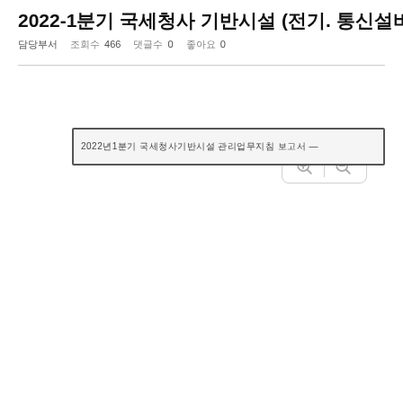2022-1분기 국세청사 기반시설 (전기. 통신설비) 유지 관리(~5/31)
담당부서   조회수 466   댓글수 0   좋아요 0
[Figure (screenshot): Document preview area showing top portion of a document with Korean text, with zoom in and zoom out controls on the right]